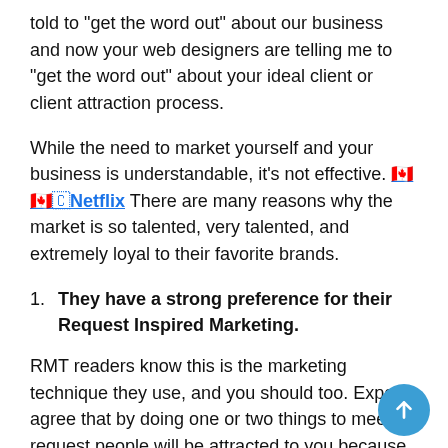told to “get the word out” about our business and now your web designers are telling me to “get the word out” about your ideal client or client attraction process.
While the need to market yourself and your business is understandable, it’s not effective. 🇨🇦🇨🇦🇨Netflix There are many reasons why the market is so talented, very talented, and extremely loyal to their favorite brands.
They have a strong preference for their Request Inspired Marketing.
RMT readers know this is the marketing technique they use, and you should too. Experts agree that by doing one or two things to meet a request people will be attracted to you because you offer them something they want. After you fulfill their wants they will go out of their way to be your future client. This is